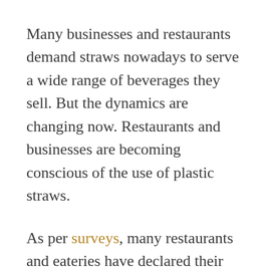Many businesses and restaurants demand straws nowadays to serve a wide range of beverages they sell. But the dynamics are changing now. Restaurants and businesses are becoming conscious of the use of plastic straws.
As per surveys, many restaurants and eateries have declared their approaches to discard plastic straws. Not only food businesses and restaurants but even a large percentage of customers are embracing sustainable straws. They are also healthier to use as pure bamboo, paper, and silicone go into their making. You can use them more than once as